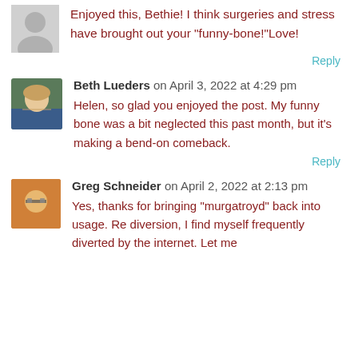Enjoyed this, Bethie! I think surgeries and stress have brought out your “funny-bone!”Love!
Reply
Beth Lueders on April 3, 2022 at 4:29 pm
Helen, so glad you enjoyed the post. My funny bone was a bit neglected this past month, but it’s making a bend-on comeback.
Reply
Greg Schneider on April 2, 2022 at 2:13 pm
Yes, thanks for bringing “murgatroyd” back into usage. Re diversion, I find myself frequently diverted by the internet. Let me